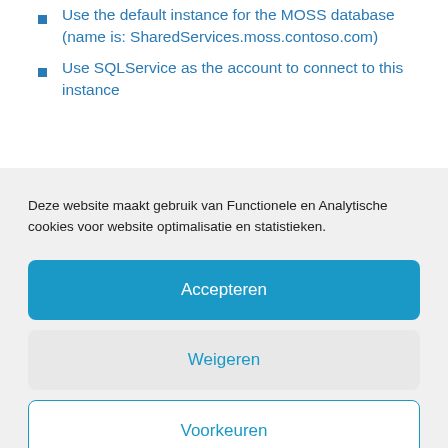Use the default instance for the MOSS database (name is: SharedServices.moss.contoso.com)
Use SQLService as the account to connect to this instance
Deze website maakt gebruik van Functionele en Analytische cookies voor website optimalisatie en statistieken.
Accepteren
Weigeren
Voorkeuren
Cookiebeleid  Privacyverklaring